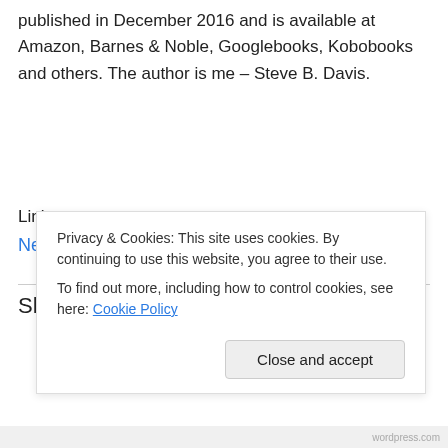published in December 2016 and is available at Amazon, Barnes & Noble, Googlebooks, Kobobooks and others. The author is me – Steve B. Davis.
Link:
Near Miss – The book by Steve B. Davis
Share this
Privacy & Cookies: This site uses cookies. By continuing to use this website, you agree to their use.
To find out more, including how to control cookies, see here: Cookie Policy
Close and accept